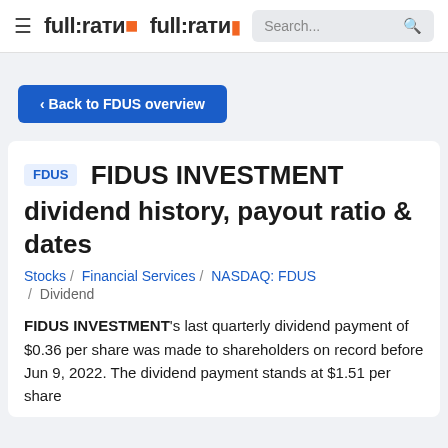full:ratio | Search...
< Back to FDUS overview
FDUS FIDUS INVESTMENT dividend history, payout ratio & dates
Stocks / Financial Services / NASDAQ: FDUS / Dividend
FIDUS INVESTMENT's last quarterly dividend payment of $0.36 per share was made to shareholders on record before Jun 9, 2022. The dividend payment stands at $1.51 per share